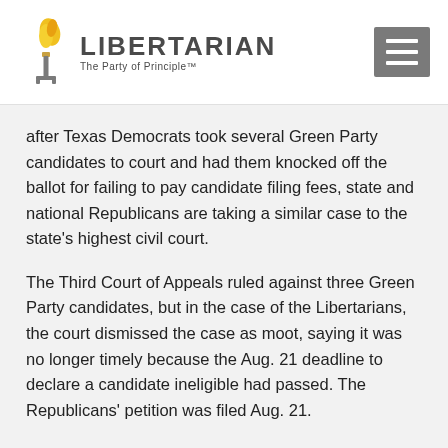[Figure (logo): Libertarian Party logo with torch and flame icon, text 'LIBERTARIAN The Party of Principle™']
after Texas Democrats took several Green Party candidates to court and had them knocked off the ballot for failing to pay candidate filing fees, state and national Republicans are taking a similar case to the state's highest civil court.
The Third Court of Appeals ruled against three Green Party candidates, but in the case of the Libertarians, the court dismissed the case as moot, saying it was no longer timely because the Aug. 21 deadline to declare a candidate ineligible had passed. The Republicans' petition was filed Aug. 21.